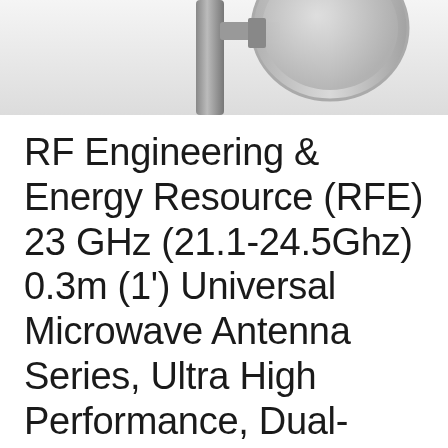[Figure (photo): Partial photo of a microwave antenna mounted on a pole, showing the dish and mount hardware against a light gray background. The image is cropped showing only the top portion of the antenna.]
RF Engineering & Energy Resource (RFE) 23 GHz (21.1-24.5Ghz) 0.3m (1') Universal Microwave Antenna Series, Ultra High Performance, Dual-Polarized, Ceragon IP-20C Interface